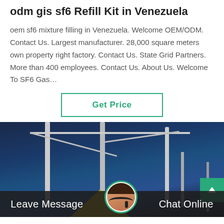odm gis sf6 Refill Kit in Venezuela
oem sf6 mixture filling in Venezuela. Welcome OEM/ODM. Contact Us. Largest manufacturer. 28,000 square meters own property right factory. Contact Us. State Grid Partners. More than 400 employees. Contact Us. About Us. Welcome To SF6 Gas…
[Figure (other): Get Price button with green border]
[Figure (photo): High-voltage electrical substation with steel lattice towers, power lines, and a yellow structure in the foreground, photographed at dusk against a dark blue sky.]
Leave Message   Chat Online